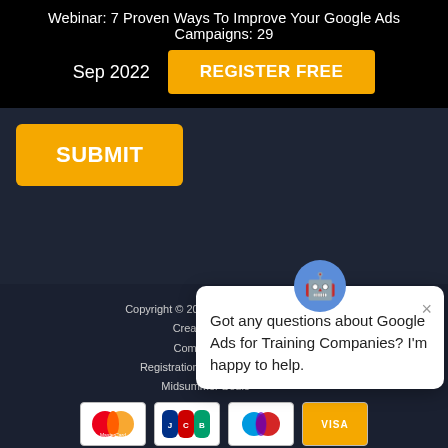Webinar: 7 Proven Ways To Improve Your Google Ads Campaigns: 29 Sep 2022
[Figure (screenshot): REGISTER FREE button (gold/amber background, white bold text)]
[Figure (screenshot): SUBMIT button (gold/amber background, white bold text) on dark background]
[Figure (screenshot): Chat popup overlay with avatar icon and message: Got any questions about Google Ads for Training Companies? I'm happy to help. With close X button.]
Copyright © 2022 Mi... All ri...
Created by M...
Company Na...
Registration Number: 1077...
Midsummer Boule...
[Figure (screenshot): Payment logos: MasterCard, JCB, Maestro, Visa]
Terms & Conditions   Privacy Policy